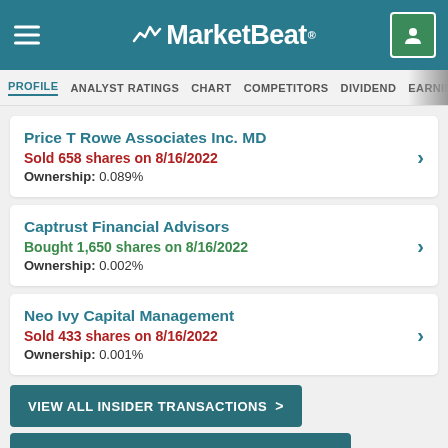MarketBeat
PROFILE  ANALYST RATINGS  CHART  COMPETITORS  DIVIDEND  EARNINGS
Price T Rowe Associates Inc. MD
Sold 658 shares on 8/16/2022
Ownership: 0.089%
Captrust Financial Advisors
Bought 1,650 shares on 8/16/2022
Ownership: 0.002%
Neo Ivy Capital Management
Sold 433 shares on 8/16/2022
Ownership: 0.001%
VIEW ALL INSIDER TRANSACTIONS >
VIEW ALL INSTITUTIONAL TRANSACTIONS >